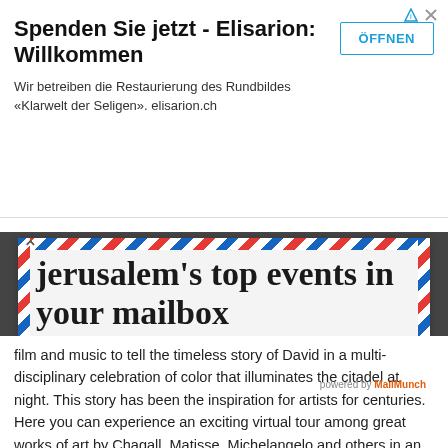[Figure (screenshot): Advertisement banner for Elisarion: 'Spenden Sie jetzt - Elisarion: Willkommen' with ÖFFNEN button]
jerusalem's top events in your mailbox
Enter your email
Subscribe
You can unsubscribe at anytime.
film and music to tell the timeless story of David in a multi-disciplinary celebration of color that illuminates the citadel at night. This story has been the inspiration for artists for centuries. Here you can experience an exciting virtual tour among great works of art by Chagall, Matisse, Michelangelo and others in an artistic tribute to the artists, painters and